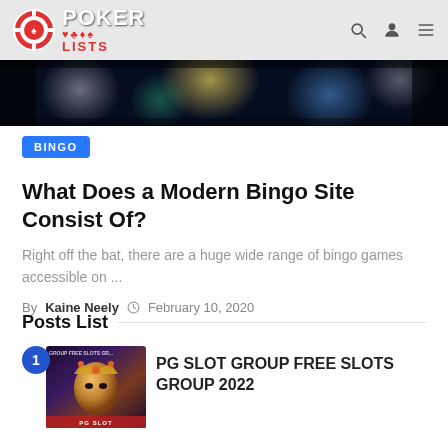POKER LISTS
[Figure (photo): Hero image strip with colorful bokeh lights on dark background]
BINGO
What Does a Modern Bingo Site Consist Of?
Right off the bat, there are a huge wide range of bingo games accessible on ...
By Kaine Neely  February 10, 2020
Posts List
[Figure (photo): Thumbnail image for PG SLOT GROUP FREE SLOTS GROUP 2022 showing a queen character with gold headdress on dark background]
PG SLOT GROUP FREE SLOTS GROUP 2022